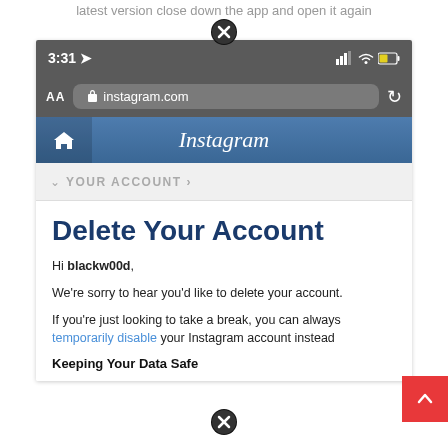latest version close down the app and open it again
[Figure (screenshot): Mobile browser screenshot showing Instagram's 'Delete Your Account' page at instagram.com, with iOS status bar showing 3:31, address bar, Instagram navigation bar, 'YOUR ACCOUNT' section header, and page content beginning with 'Delete Your Account' heading and text about deleting account and temporarily disabling.]
Keeping Your Data Safe